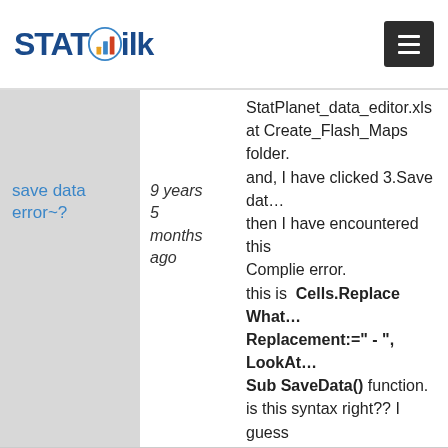STATSilk
save data error~?
9 years 5 months ago
StatPlanet_data_editor.xls at Create_Flash_Maps folder. and, I have clicked 3.Save data then I have encountered this Complie error. this is Cells.Replace What... Replacement:=" - ", LookAt... Sub SaveData() function. is this syntax right?? I guess is wrong. Could you give me the method I expect your reply. thanks. also I found the...